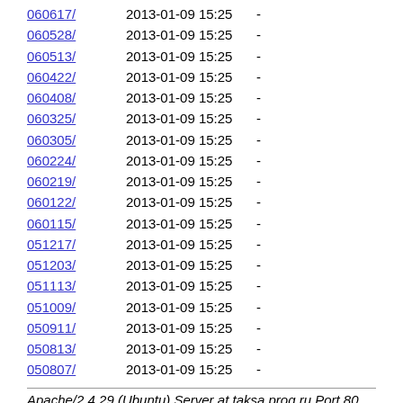060617/    2013-01-09 15:25    -
060528/    2013-01-09 15:25    -
060513/    2013-01-09 15:25    -
060422/    2013-01-09 15:25    -
060408/    2013-01-09 15:25    -
060325/    2013-01-09 15:25    -
060305/    2013-01-09 15:25    -
060224/    2013-01-09 15:25    -
060219/    2013-01-09 15:25    -
060122/    2013-01-09 15:25    -
060115/    2013-01-09 15:25    -
051217/    2013-01-09 15:25    -
051203/    2013-01-09 15:25    -
051113/    2013-01-09 15:25    -
051009/    2013-01-09 15:25    -
050911/    2013-01-09 15:25    -
050813/    2013-01-09 15:25    -
050807/    2013-01-09 15:25    -
Apache/2.4.29 (Ubuntu) Server at taksa.prog.ru Port 80